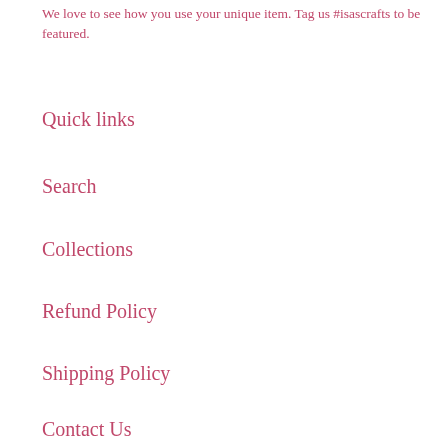We love to see how you use your unique item. Tag us #isascrafts to be featured.
Quick links
Search
Collections
Refund Policy
Shipping Policy
Contact Us